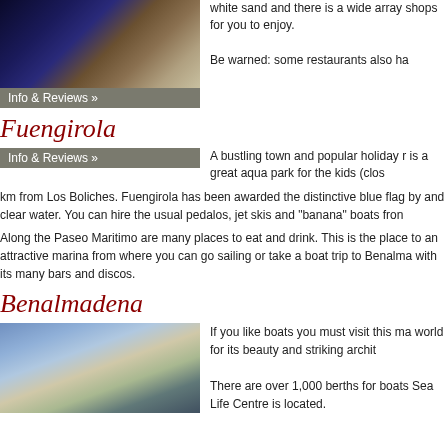[Figure (photo): Night photo of a marina or harbour with rocks, lights reflecting on water]
white sand and there is a wide array shops for you to enjoy.
Be warned: some restaurants also ha
Info & Reviews »
Fuengirola
Info & Reviews »
A bustling town and popular holiday r is a great aqua park for the kids (clos
km from Los Boliches. Fuengirola has been awarded the distinctive blue flag by and clear water. You can hire the usual pedalos, jet skis and "banana" boats fron
Along the Paseo Maritimo are many places to eat and drink. This is the place to an attractive marina from where you can go sailing or take a boat trip to Benalma with its many bars and discos.
Benalmadena
[Figure (photo): Photo of Benalmadena marina with white buildings and boats]
If you like boats you must visit this ma world for its beauty and striking archit
There are over 1,000 berths for boats Sea Life Centre is located.